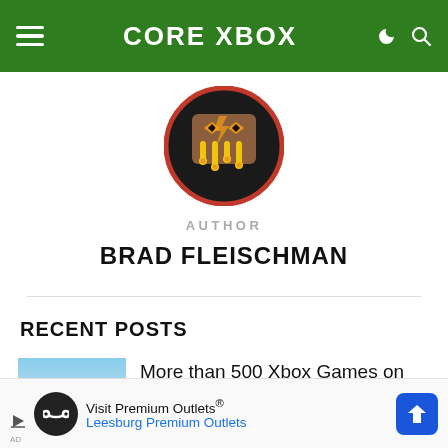CORE XBOX
[Figure (illustration): Round avatar logo with a stylized face/monster design on a dark background with orange/red dripping border]
AUTHOR
BRAD FLEISCHMAN
RECENT POSTS
[Figure (photo): Thumbnail image with blue sky]
More than 500 Xbox Games on
[Figure (screenshot): Advertisement banner: Visit Premium Outlets® Leesburg Premium Outlets]